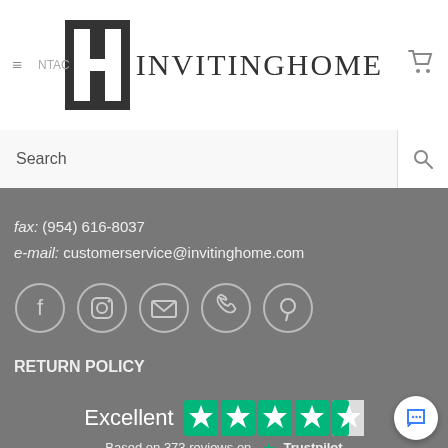[Figure (logo): InvitingHome logo with IH monogram in dark block and serif text]
Search
fax: (954) 616-8037
e-mail: customerservice@invitinghome.com
[Figure (infographic): Five social media/contact icons in circles: Facebook, Instagram, Email, Phone, Pinterest]
RETURN POLICY
[Figure (infographic): Trustpilot rating: Excellent with 4.5 stars, Based on 373 reviews on Trustpilot]